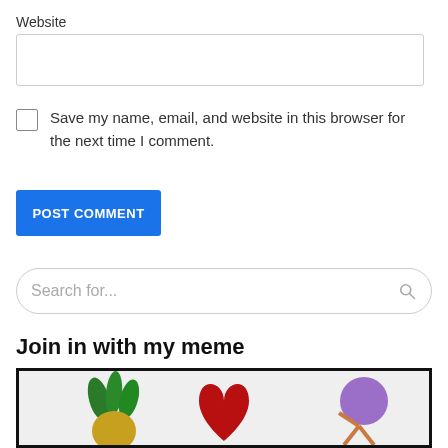Website
Save my name, email, and website in this browser for the next time I comment.
POST COMMENT
Search for...
Join in with my meme
[Figure (photo): Meme image with pineapple, red heart, and a person with purple circle on light background with black border]